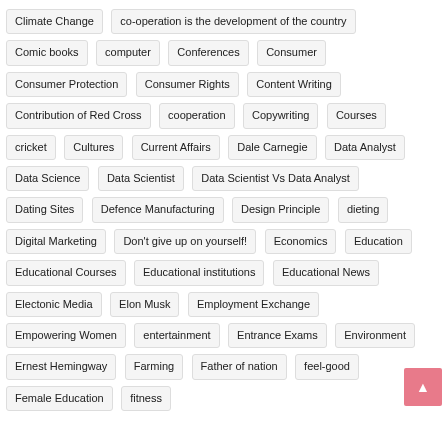Climate Change
co-operation is the development of the country
Comic books
computer
Conferences
Consumer
Consumer Protection
Consumer Rights
Content Writing
Contribution of Red Cross
cooperation
Copywriting
Courses
cricket
Cultures
Current Affairs
Dale Carnegie
Data Analyst
Data Science
Data Scientist
Data Scientist Vs Data Analyst
Dating Sites
Defence Manufacturing
Design Principle
dieting
Digital Marketing
Don't give up on yourself!
Economics
Education
Educational Courses
Educational institutions
Educational News
Electonic Media
Elon Musk
Employment Exchange
Empowering Women
entertainment
Entrance Exams
Environment
Ernest Hemingway
Farming
Father of nation
feel-good
Female Education
fitness